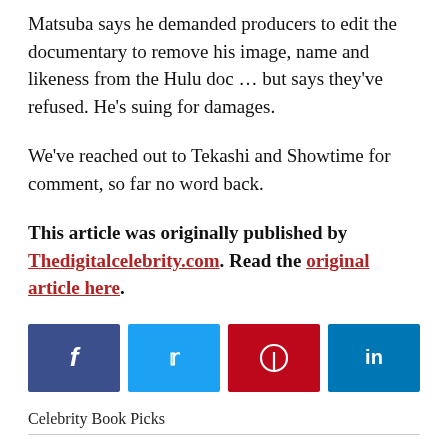Matsuba says he demanded producers to edit the documentary to remove his image, name and likeness from the Hulu doc … but says they've refused. He's suing for damages.
We've reached out to Tekashi and Showtime for comment, so far no word back.
This article was originally published by Thedigitalcelebrity.com. Read the original article here.
[Figure (infographic): Social media share buttons: Facebook (dark blue), Twitter (light blue), Pinterest (red), LinkedIn (dark blue)]
Celebrity Book Picks